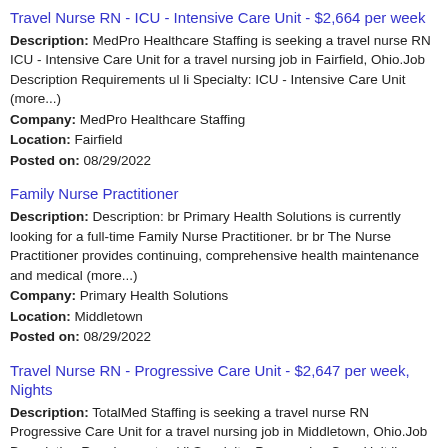Travel Nurse RN - ICU - Intensive Care Unit - $2,664 per week
Description: MedPro Healthcare Staffing is seeking a travel nurse RN ICU - Intensive Care Unit for a travel nursing job in Fairfield, Ohio.Job Description Requirements ul li Specialty: ICU - Intensive Care Unit (more...)
Company: MedPro Healthcare Staffing
Location: Fairfield
Posted on: 08/29/2022
Family Nurse Practitioner
Description: Description: br Primary Health Solutions is currently looking for a full-time Family Nurse Practitioner. br br The Nurse Practitioner provides continuing, comprehensive health maintenance and medical (more...)
Company: Primary Health Solutions
Location: Middletown
Posted on: 08/29/2022
Travel Nurse RN - Progressive Care Unit - $2,647 per week, Nights
Description: TotalMed Staffing is seeking a travel nurse RN Progressive Care Unit for a travel nursing job in Middletown, Ohio.Job Description Requirements ul li Specialty: Progressive Care Unit li Discipline: (more...)